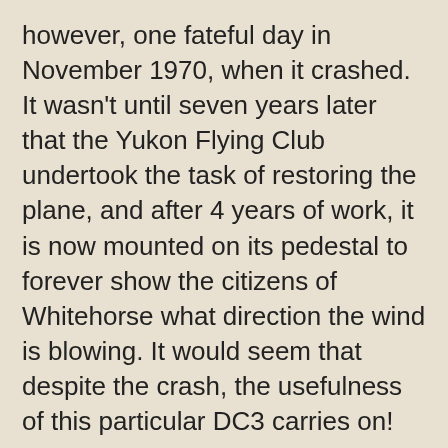however, one fateful day in November 1970, when it crashed. It wasn't until seven years later that the Yukon Flying Club undertook the task of restoring the plane, and after 4 years of work, it is now mounted on its pedestal to forever show the citizens of Whitehorse what direction the wind is blowing. It would seem that despite the crash, the usefulness of this particular DC3 carries on!
Reflecting on this, I realize that once someone retires from active duty, the "golden years" sometimes turn out to be stale and lifeless. But they don't have to be! One's usefulness is only over when we let it be over!
I read of a lady who had dreamed her entire